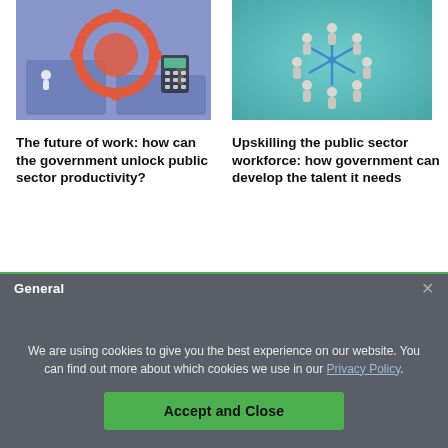[Figure (illustration): Illustration of people working with gears, charts and digital devices representing future of work / government productivity]
[Figure (photo): Photo of small figurines arranged in a circle on a teal/turquoise background, representing workforce collaboration]
The future of work: how can the government unlock public sector productivity?
Upskilling the public sector workforce: how government can develop the talent it needs
General
We are using cookies to give you the best experience on our website. You can find out more about which cookies we use in our Privacy Policy.
Accept and Close